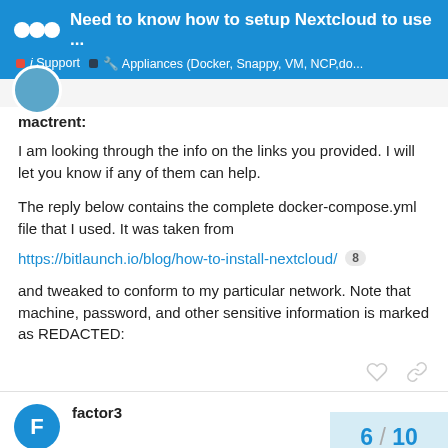Need to know how to setup Nextcloud to use ... | Support | Appliances (Docker, Snappy, VM, NCP,do...
mactrent:
I am looking through the info on the links you provided. I will let you know if any of them can help.
The reply below contains the complete docker-compose.yml file that I used. It was taken from
https://bitlaunch.io/blog/how-to-install-nextcloud/ 8
and tweaked to conform to my particular network. Note that machine, password, and other sensitive information is marked as REDACTED:
factor3